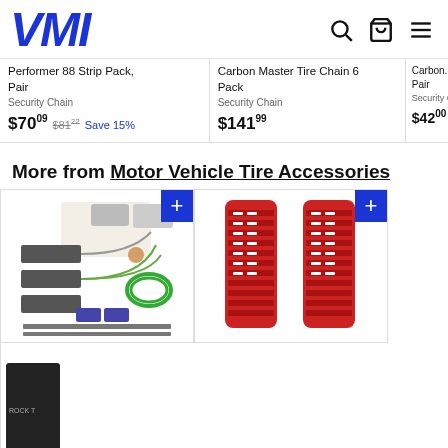VMI
Performer 88 Strip Pack, Pair
Security Chain
$70.09  $81.22  Save 15%
Carbon Master Tire Chain 6 Pack
Security Chain
$141.99
Carbon...
Pair
Security Chain
$42.00
More from Motor Vehicle Tire Accessories
[Figure (photo): Tekonsha 118525 T-One Connector Assembly with product components shown]
[Figure (photo): ActionTrax Traction Boards Overlanding Gear with Metal - red traction boards shown]
[Figure (photo): Rock... System... partial product image]
Tekonsha 118525 T-One Connector Assembly with
ActionTrax Traction Boards Overlanding Gear with Metal
R... System...